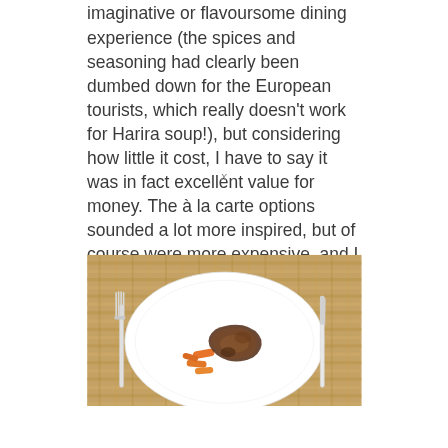imaginative or flavoursome dining experience (the spices and seasoning had clearly been dumbed down for the European tourists, which really doesn't work for Harira soup!), but considering how little it cost, I have to say it was in fact excellent value for money. The à la carte options sounded a lot more inspired, but of course were more expensive, and I didn't see any other guests eating off this menu whilst we were there.
[Figure (photo): A white plate with a cooked meat and vegetable dish (carrots, artichoke, mushrooms/braised meat) on a woven wicker/rattan placemat, with a fork on the left and knife on the right.]
x